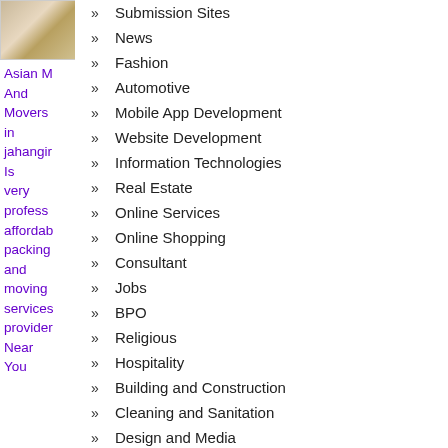[Figure (photo): Partial photo of an interior room with wooden floor and beige walls]
Asian Movers And Movers in jahangir Is very professional affordable packing and moving services provider Near You
Submission Sites
News
Fashion
Automotive
Mobile App Development
Website Development
Information Technologies
Real Estate
Online Services
Online Shopping
Consultant
Jobs
BPO
Religious
Hospitality
Building and Construction
Cleaning and Sanitation
Design and Media